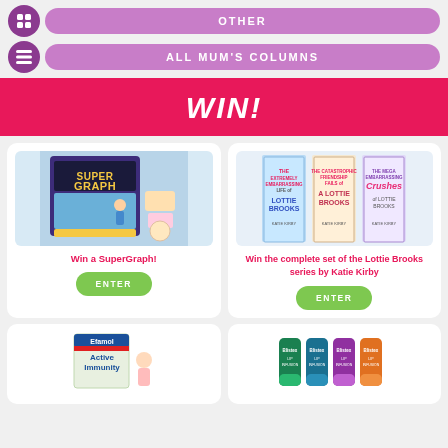OTHER
ALL MUM'S COLUMNS
WIN!
Win a SuperGraph!
Win the complete set of the Lottie Brooks series by Katie Kirby
[Figure (photo): SuperGraph toy box product image showing a boy drawing]
[Figure (photo): Three book covers from the Lottie Brooks series by Katie Kirby]
[Figure (photo): Efamol Active Immunity product image (partial)]
[Figure (photo): Blistex lip products (partial)]